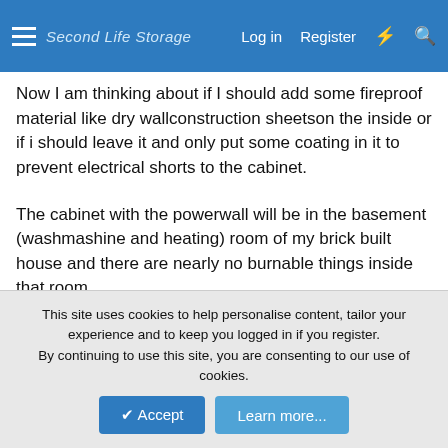Second Life Storage — Log in  Register
Now I am thinking about if I should add some fireproof material like dry wallconstruction sheetson the inside or if i should leave it and only put some coating in it to prevent electrical shorts to the cabinet.

The cabinet with the powerwall will be in the basement (washmashine and heating) room of my brick built house and there are nearly no burnable things inside that room.

What would youdo? Leave the metal cabinet or add fireprove material on the inside?
floydR
Member
This site uses cookies to help personalise content, tailor your experience and to keep you logged in if you register.
By continuing to use this site, you are consenting to our use of cookies.